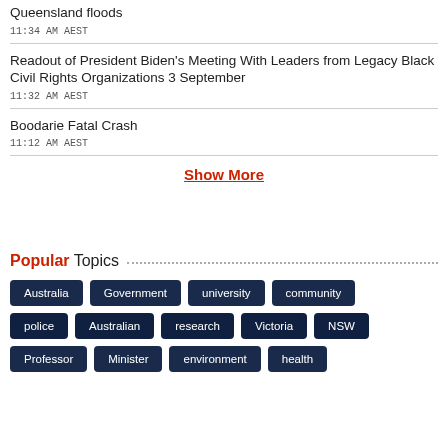Queensland floods
11:34 AM AEST
Readout of President Biden’s Meeting With Leaders from Legacy Black Civil Rights Organizations 3 September
11:32 AM AEST
Boodarie Fatal Crash
11:12 AM AEST
Show More
Popular Topics
Australia
Government
university
community
police
Australian
research
Victoria
NSW
Professor
Minister
environment
health